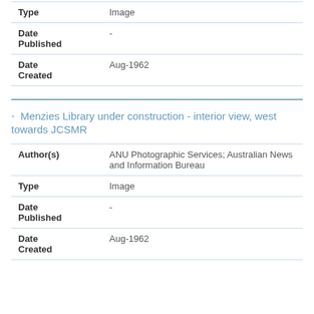| Field | Value |
| --- | --- |
| Type | Image |
| Date Published | - |
| Date Created | Aug-1962 |
Menzies Library under construction - interior view, west towards JCSMR
| Field | Value |
| --- | --- |
| Author(s) | ANU Photographic Services; Australian News and Information Bureau |
| Type | Image |
| Date Published | - |
| Date Created | Aug-1962 |